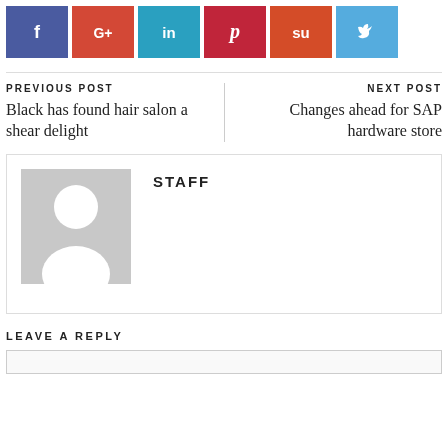[Figure (infographic): Row of six social media share buttons: Facebook (dark blue), Google+ (red), LinkedIn (teal/blue), Pinterest (dark red), StumbleUpon (orange-red), Twitter (light blue)]
PREVIOUS POST
Black has found hair salon a shear delight
NEXT POST
Changes ahead for SAP hardware store
[Figure (illustration): Author avatar placeholder image: grey square with white silhouette of a person]
STAFF
LEAVE A REPLY